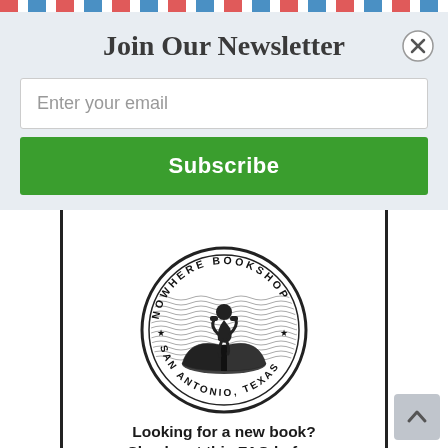Join Our Newsletter
Enter your email
Subscribe
[Figure (logo): Nowhere Bookshop circular stamp logo with a person reading on top of an open book, text reads NOWHERE BOOKSHOP SAN ANTONIO, TEXAS with stars]
Looking for a new book? Check out this FAQ before